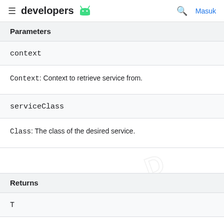developers [Android logo] | search | Masuk
Parameters
context
Context: Context to retrieve service from.
serviceClass
Class: The class of the desired service.
Returns
T